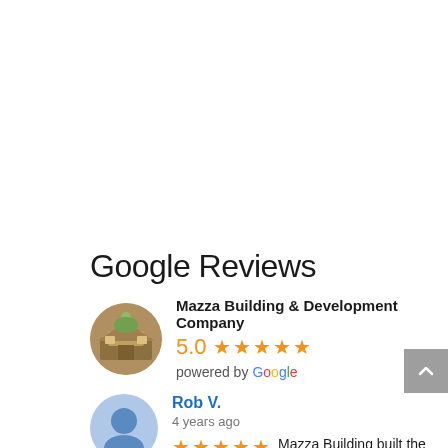Google Reviews
Mazza Building & Development Company
5.0 ★★★★★
powered by Google
Rob V.
4 years ago
★★★★★ Mazza Building built the custom home of our dreams in Clarkston MI! Not only did